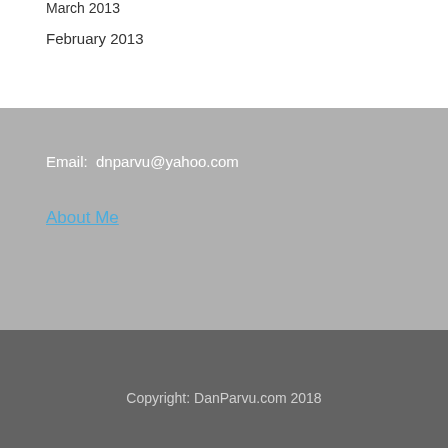March 2013
February 2013
Email:  dnparvu@yahoo.com
About Me
Copyright: DanParvu.com 2018